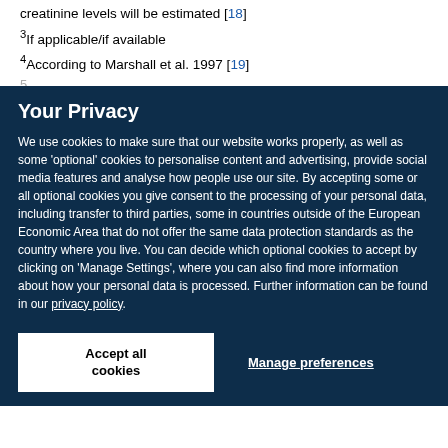creatinine levels will be estimated [18]
3If applicable/if available
4According to Marshall et al. 1997 [19]
Your Privacy
We use cookies to make sure that our website works properly, as well as some 'optional' cookies to personalise content and advertising, provide social media features and analyse how people use our site. By accepting some or all optional cookies you give consent to the processing of your personal data, including transfer to third parties, some in countries outside of the European Economic Area that do not offer the same data protection standards as the country where you live. You can decide which optional cookies to accept by clicking on 'Manage Settings', where you can also find more information about how your personal data is processed. Further information can be found in our privacy policy.
Accept all cookies
Manage preferences